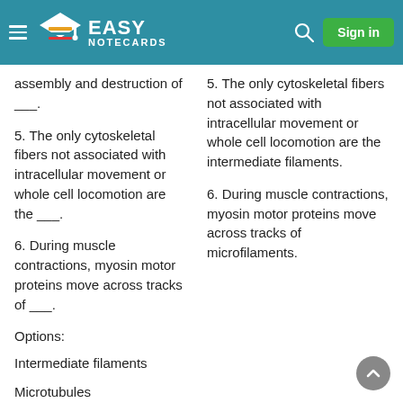Easy Notecards — Sign in
assembly and destruction of ___.
5. The only cytoskeletal fibers not associated with intracellular movement or whole cell locomotion are the ___.
6. During muscle contractions, myosin motor proteins move across tracks of ___.
Options:
Intermediate filaments
Microtubules
Microfilaments
5. The only cytoskeletal fibers not associated with intracellular movement or whole cell locomotion are the intermediate filaments.
6. During muscle contractions, myosin motor proteins move across tracks of microfilaments.